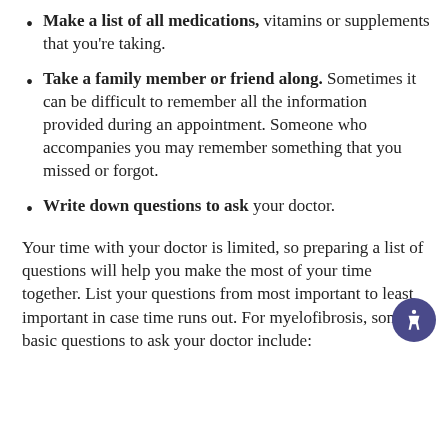Make a list of all medications, vitamins or supplements that you're taking.
Take a family member or friend along. Sometimes it can be difficult to remember all the information provided during an appointment. Someone who accompanies you may remember something that you missed or forgot.
Write down questions to ask your doctor.
Your time with your doctor is limited, so preparing a list of questions will help you make the most of your time together. List your questions from most important to least important in case time runs out. For myelofibrosis, some basic questions to ask your doctor include: